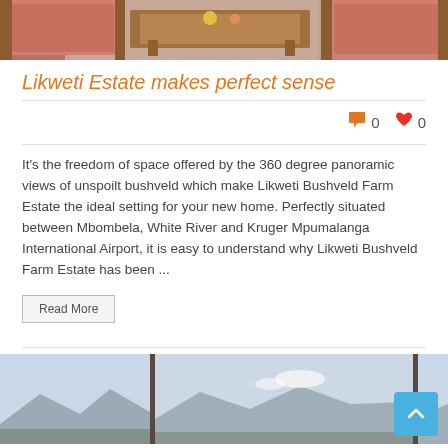[Figure (photo): Outdoor patio furniture with salmon/orange cushions on wooden chairs around a wooden coffee table, viewed from above.]
Likweti Estate makes perfect sense
0  0 (comment and like counts)
It's the freedom of space offered by the 360 degree panoramic views of unspoilt bushveld which make Likweti Bushveld Farm Estate the ideal setting for your new home. Perfectly situated between Mbombela, White River and Kruger Mpumalanga International Airport, it is easy to understand why Likweti Bushveld Farm Estate has been ...
Read More
[Figure (photo): Panoramic landscape view showing mountains and sky through large windows, three-panel image.]